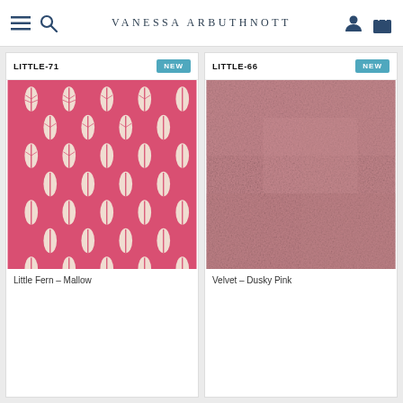Vanessa Arbuthnott
LITTLE-71 NEW
LITTLE-66 NEW
[Figure (photo): Pink patterned fabric with repeating cream fern/leaf motifs on rose/mallow background]
Little Fern – Mallow
[Figure (photo): Solid dusky pink velvet fabric swatch with subtle texture]
Velvet – Dusky Pink